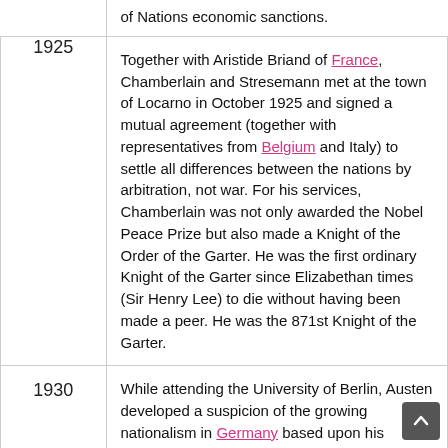| Year | Event |
| --- | --- |
|  | of Nations economic sanctions. |
| 1925 | Together with Aristide Briand of France, Chamberlain and Stresemann met at the town of Locarno in October 1925 and signed a mutual agreement (together with representatives from Belgium and Italy) to settle all differences between the nations by arbitration, not war. For his services, Chamberlain was not only awarded the Nobel Peace Prize but also made a Knight of the Order of the Garter. He was the first ordinary Knight of the Garter since Elizabethan times (Sir Henry Lee) to die without having been made a peer. He was the 871st Knight of the Garter. |
| 1930 | While attending the University of Berlin, Austen developed a suspicion of the growing nationalism in Germany based upon his experience of the lecturing style of Heinrich von Treitschke, who opened up to him "a new side of the German character - a narrow-minded, proud, intolerant Prussian chauvinism", the consequences of which he was later to ponder during the First World War and the crises of the 1930s. |